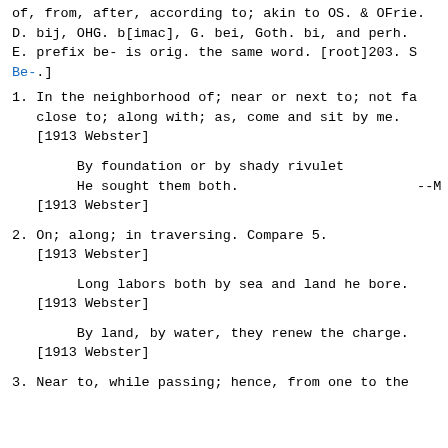of, from, after, according to; akin to OS. & OFrie. D. bij, OHG. b[imac], G. bei, Goth. bi, and perh. E. prefix be- is orig. the same word. [root]203. S Be-.]
1. In the neighborhood of; near or next to; not fa close to; along with; as, come and sit by me. [1913 Webster]
By foundation or by shady rivulet
He sought them both.                      --M
[1913 Webster]
2. On; along; in traversing. Compare 5.
   [1913 Webster]
Long labors both by sea and land he bore.
[1913 Webster]
By land, by water, they renew the charge.
[1913 Webster]
3. Near to, while passing; hence, from one to the